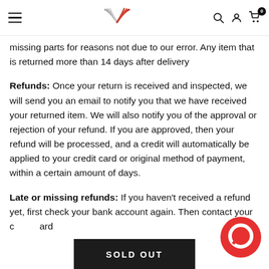[Navigation header with hamburger menu, logo, search, account, and cart icons]
missing parts for reasons not due to our error. Any item that is returned more than 14 days after delivery
Refunds: Once your return is received and inspected, we will send you an email to notify you that we have received your returned item. We will also notify you of the approval or rejection of your refund. If you are approved, then your refund will be processed, and a credit will automatically be applied to your credit card or original method of payment, within a certain amount of days.
Late or missing refunds: If you haven't received a refund yet, first check your bank account again. Then contact your credit card
[Figure (other): SOLD OUT button (dark background, white text)]
[Figure (other): Red circular chat/support bubble icon in bottom right corner]